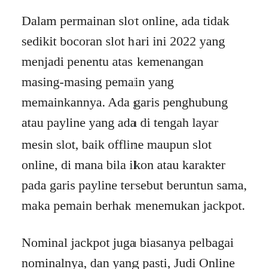Dalam permainan slot online, ada tidak sedikit bocoran slot hari ini 2022 yang menjadi penentu atas kemenangan masing-masing pemain yang memainkannya. Ada garis penghubung atau payline yang ada di tengah layar mesin slot, baik offline maupun slot online, di mana bila ikon atau karakter pada garis payline tersebut beruntun sama, maka pemain berhak menemukan jackpot.
Nominal jackpot juga biasanya pelbagai nominalnya, dan yang pasti, Judi Online slot 4d merekomendasikan situs judi slot online24jam terpercaya 2021 & 2022 saja untuk Anda yang